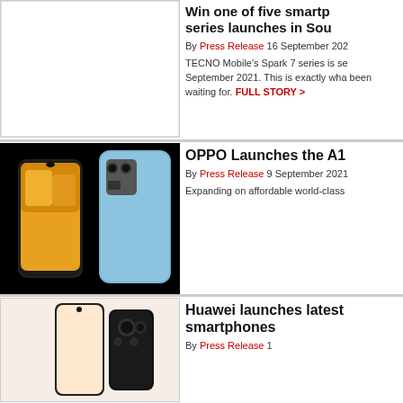[Figure (photo): Empty/placeholder image area for TECNO Mobile Spark 7 series article]
Win one of five smartphones as Spark 7 series launches in South Africa
By Press Release 16 September 2021
TECNO Mobile's Spark 7 series is set to launch across Southern Africa in September 2021. This is exactly what tech enthusiasts have been waiting for. FULL STORY >
[Figure (photo): OPPO A16 smartphones shown from front and back on black background]
OPPO Launches the A16
By Press Release 9 September 2021
Expanding on affordable world-class smartphones
[Figure (photo): Huawei latest smartphones shown]
Huawei launches latest smartphones
By Press Release